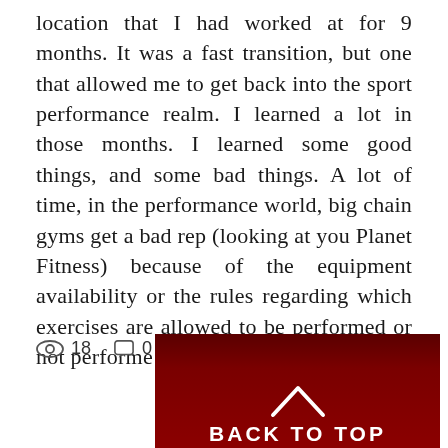location that I had worked at for 9 months. It was a fast transition, but one that allowed me to get back into the sport performance realm. I learned a lot in those months. I learned some good things, and some bad things. A lot of time, in the performance world, big chain gyms get a bad rep (looking at you Planet Fitness) because of the equipment availability or the rules regarding which exercises are allowed to be performed or not performe
👁 18   💬 0   ♡
[Figure (other): Dark red 'Back to Top' banner with a white chevron/caret pointing upward and bold white uppercase text 'BACK TO TOP']